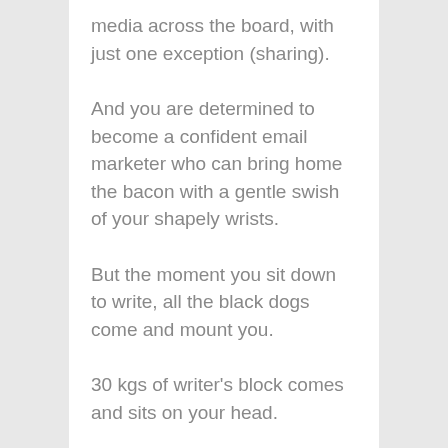media across the board, with just one exception (sharing).
And you are determined to become a confident email marketer who can bring home the bacon with a gentle swish of your shapely wrists.
But the moment you sit down to write, all the black dogs come and mount you.
30 kgs of writer's block comes and sits on your head.